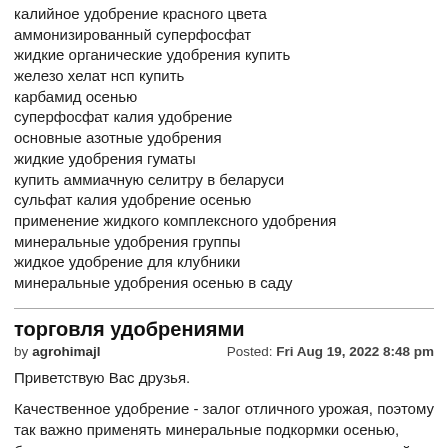калийное удобрение красного цвета
аммонизированный суперфосфат
жидкие органические удобрения купить
железо хелат нсп купить
карбамид осенью
суперфосфат калия удобрение
основные азотные удобрения
жидкие удобрения гуматы
купить аммиачную селитру в беларуси
сульфат калия удобрение осенью
применение жидкого комплексного удобрения
минеральные удобрения группы
жидкое удобрение для клубники
минеральные удобрения осенью в саду
торговля удобрениями
by agrohimajl Posted: Fri Aug 19, 2022 8:48 pm
Приветствую Вас друзья.
Качественное удобрение - залог отличного урожая, поэтому так важно применять минеральные подкормки осенью, благодаря которым растениям удастся пережить зимний период и уцелеть от нашествия грызунов и насекомых. Однако классификация (простые)